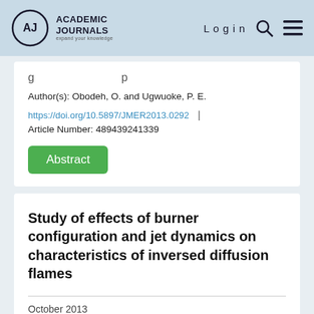Academic Journals | Login
Author(s): Obodeh, O. and Ugwuoke, P. E.
https://doi.org/10.5897/JMER2013.0292 | Article Number: 489439241339
Abstract
Study of effects of burner configuration and jet dynamics on characteristics of inversed diffusion flames
October 2013